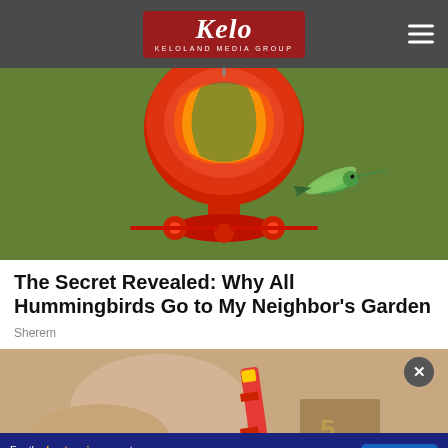KELOLAND MEDIA GROUP
[Figure (photo): Close-up photo of a colorful red hummingbird feeder with a hummingbird approaching from the right side against a green blurred background]
The Secret Revealed: Why All Hummingbirds Go to My Neighbor's Garden
Sherem
[Figure (photo): Close-up photo of hands holding a crayon (Crayola) and what appears to be some paper or currency]
For the best reviews, go to BESTREVIEWS